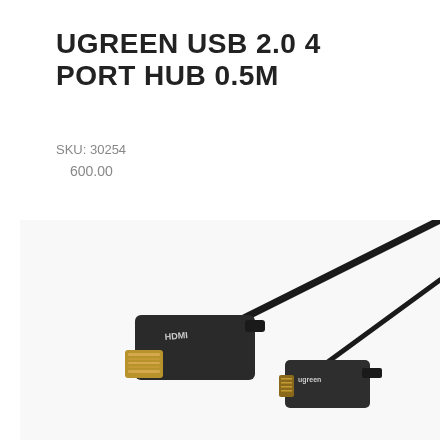UGREEN USB 2.0 4 PORT HUB 0.5M
SKU: 30254
600.00
[Figure (photo): Product photo of a Ugreen HDMI cable with two connectors — a full-size HDMI connector with gold pins on the left and a mini HDMI connector on the right, connected by a black cable, shown on white background.]